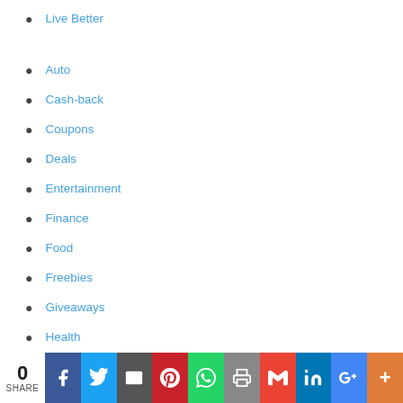Live Better
Auto
Cash-back
Coupons
Deals
Entertainment
Finance
Food
Freebies
Giveaways
Health
Home Decor
Housing
Insurance
Money
0 SHARE | Facebook | Twitter | Email | Pinterest | WhatsApp | Print | Gmail | LinkedIn | Google+ | More